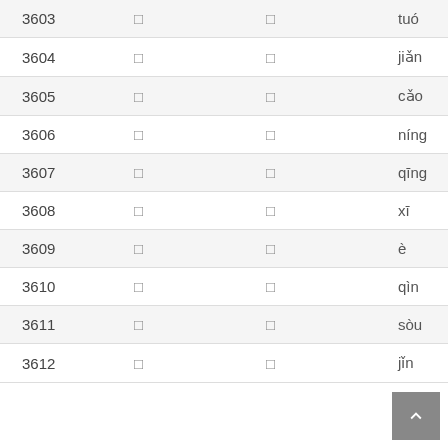| # | char1 | char2 | pinyin |
| --- | --- | --- | --- |
| 3603 | □ | □ | tuó |
| 3604 | □ | □ | jiǎn |
| 3605 | □ | □ | cǎo |
| 3606 | □ | □ | níng |
| 3607 | □ | □ | qīng |
| 3608 | □ | □ | xī |
| 3609 | □ | □ | è |
| 3610 | □ | □ | qìn |
| 3611 | □ | □ | sòu |
| 3612 | □ | □ | jǐn |